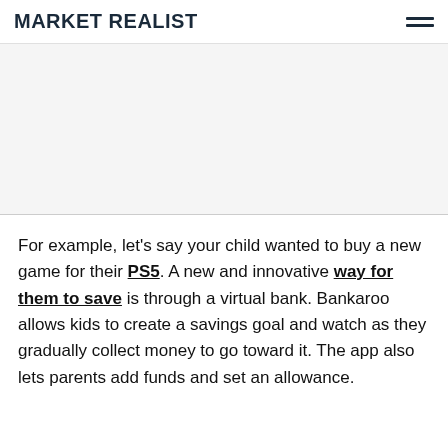MARKET REALIST
For example, let's say your child wanted to buy a new game for their PS5. A new and innovative way for them to save is through a virtual bank. Bankaroo allows kids to create a savings goal and watch as they gradually collect money to go toward it. The app also lets parents add funds and set an allowance.